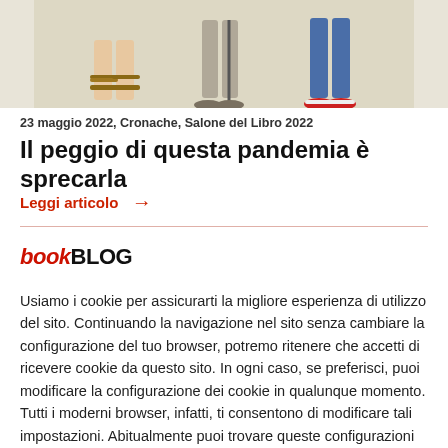[Figure (photo): Top portion of a book cover or illustration showing the lower legs and feet of three people wearing sandals and casual shoes, against a light background]
23 maggio 2022, Cronache, Salone del Libro 2022
Il peggio di questa pandemia è sprecarla
Leggi articolo →
[Figure (logo): bookBLOG logo — 'book' in red italic, 'BLOG' in black bold]
Usiamo i cookie per assicurarti la migliore esperienza di utilizzo del sito. Continuando la navigazione nel sito senza cambiare la configurazione del tuo browser, potremo ritenere che accetti di ricevere cookie da questo sito. In ogni caso, se preferisci, puoi modificare la configurazione dei cookie in qualunque momento. Tutti i moderni browser, infatti, ti consentono di modificare tali impostazioni. Abitualmente puoi trovare queste configurazioni nei menu "opzioni" o "preferenze" del tuo browser.
ACCETTO